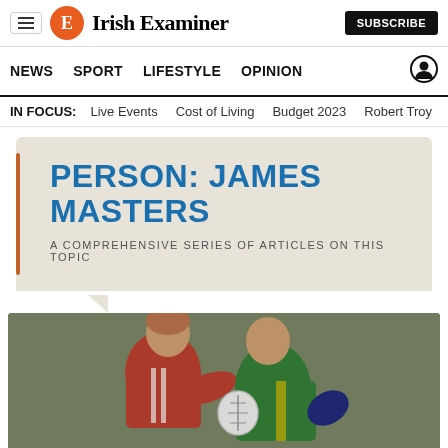Irish Examiner
NEWS  SPORT  LIFESTYLE  OPINION
IN FOCUS:  Live Events  Cost of Living  Budget 2023  Robert Troy
PERSON: JAMES MASTERS
A COMPREHENSIVE SERIES OF ARTICLES ON THIS TOPIC
[Figure (photo): Two Gaelic football players competing for the ball; one in red Cork jersey, one in green and gold Kerry jersey, with crowd in background]